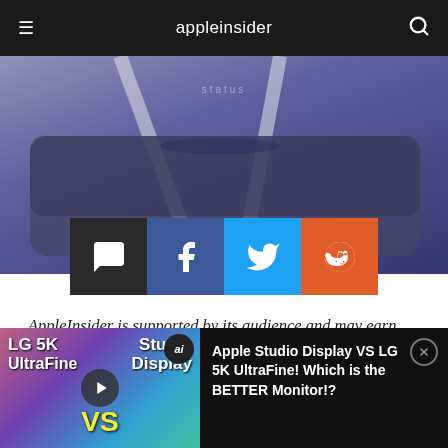appleinsider
[Figure (photo): Close-up photo of USB/Lightning cables plugged into a dark device, with 'status' label visible]
[Figure (infographic): Social sharing buttons: comment (dark), Facebook (blue), Twitter (light blue), Reddit (orange)]
AppleInsider is supported by its audience and may earn commission as an Amazon Associate and affiliate partner on qualifying purchases. These affiliate partnerships do not influence our editorial content.
Just hours after Apple debuted USB Restricted
[Figure (screenshot): Video promo bar at bottom: thumbnail of LG 5K UltraFine vs Studio Display comparison video with play button and 'ai' badge. Title reads: Apple Studio Display VS LG 5K UltraFine! Which is the BETTER Monitor!?]